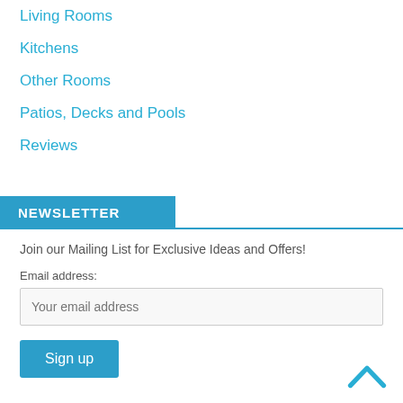Living Rooms
Kitchens
Other Rooms
Patios, Decks and Pools
Reviews
NEWSLETTER
Join our Mailing List for Exclusive Ideas and Offers!
Email address:
Your email address
Sign up